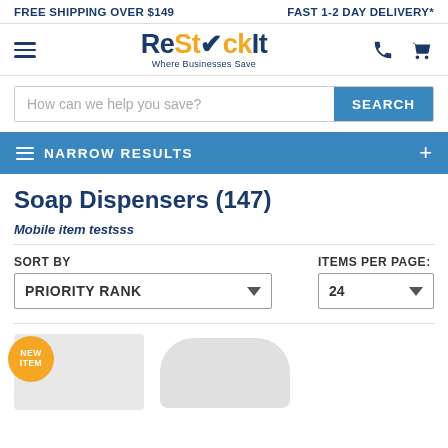FREE SHIPPING OVER $149 | FAST 1-2 DAY DELIVERY*
[Figure (logo): ReStockIt logo with hamburger menu, phone and cart icons. Text: ReStockIt Where Businesses Save]
How can we help you save? SEARCH
NARROW RESULTS +
Soap Dispensers (147)
Mobile item testsss
SORT BY: PRIORITY RANK | ITEMS PER PAGE: 24